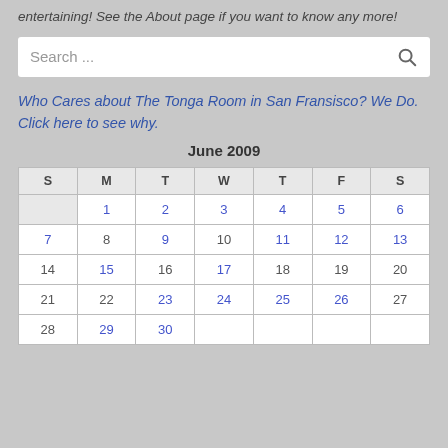entertaining! See the About page if you want to know any more!
[Figure (screenshot): Search box with placeholder text 'Search ...' and magnifying glass icon]
Who Cares about The Tonga Room in San Fransisco? We Do. Click here to see why.
| S | M | T | W | T | F | S |
| --- | --- | --- | --- | --- | --- | --- |
|  | 1 | 2 | 3 | 4 | 5 | 6 |
| 7 | 8 | 9 | 10 | 11 | 12 | 13 |
| 14 | 15 | 16 | 17 | 18 | 19 | 20 |
| 21 | 22 | 23 | 24 | 25 | 26 | 27 |
| 28 | 29 | 30 |  |  |  |  |